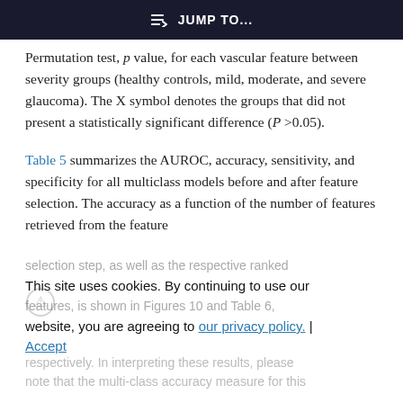JUMP TO...
Permutation test, p value, for each vascular feature between severity groups (healthy controls, mild, moderate, and severe glaucoma). The X symbol denotes the groups that did not present a statistically significant difference (P >0.05).
Table 5 summarizes the AUROC, accuracy, sensitivity, and specificity for all multiclass models before and after feature selection. The accuracy as a function of the number of features retrieved from the feature selection step, as well as the respective ranked features, is shown in Figures 10 and Table 6, respectively. In interpreting these results, please note that the multi-class accuracy measure for this